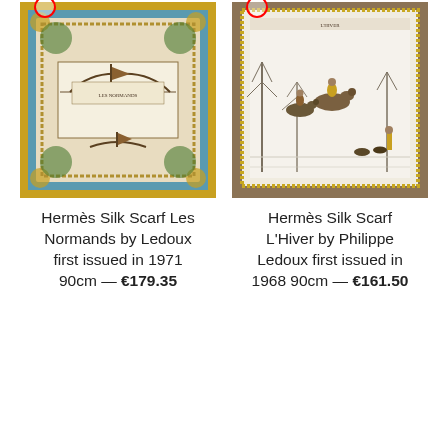[Figure (photo): Hermès silk scarf Les Normands, teal/blue background with golden ornate border, depicting Viking ships and Norse imagery]
[Figure (photo): Hermès silk scarf L'Hiver by Philippe Ledoux, brown border with winter equestrian hunting scene in snow]
Hermès Silk Scarf Les Normands by Ledoux first issued in 1971 90cm — €179.35
Hermès Silk Scarf L'Hiver by Philippe Ledoux first issued in 1968 90cm — €161.50